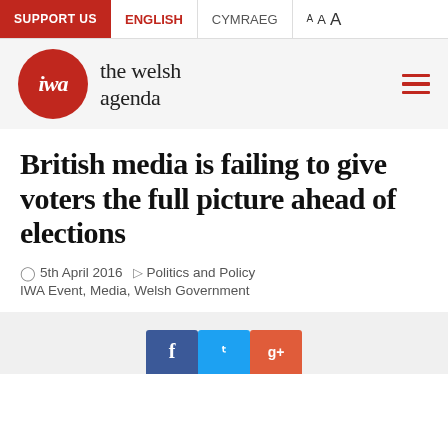SUPPORT US | ENGLISH | CYMRAEG | A A A
[Figure (logo): IWA - the welsh agenda logo: red circle with 'iwa' italic text, followed by 'the welsh agenda' text]
British media is failing to give voters the full picture ahead of elections
5th April 2016 | Politics and Policy | IWA Event, Media, Welsh Government
[Figure (other): Social sharing buttons strip: Facebook (blue), Twitter (light blue), Google+ (red-orange), partially visible at bottom of page]